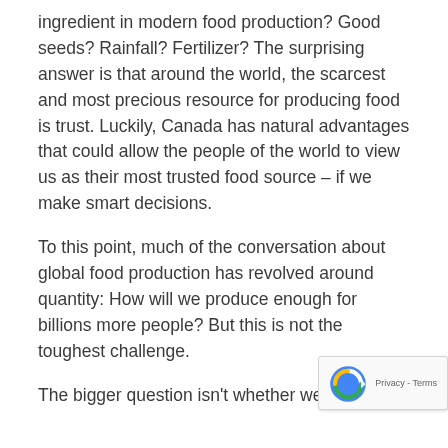ingredient in modern food production? Good seeds? Rainfall? Fertilizer? The surprising answer is that around the world, the scarcest and most precious resource for producing food is trust. Luckily, Canada has natural advantages that could allow the people of the world to view us as their most trusted food source – if we make smart decisions.
To this point, much of the conversation about global food production has revolved around quantity: How will we produce enough for billions more people? But this is not the toughest challenge.
The bigger question isn't whether we can prod… enough food, but whether the answer…